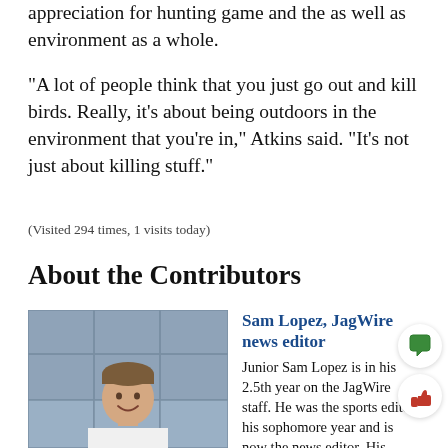appreciation for hunting game and the as well as environment as a whole.
“A lot of people think that you just go out and kill birds. Really, it’s about being outdoors in the environment that you’re in,” Atkins said. “It’s not just about killing stuff.”
(Visited 294 times, 1 visits today)
About the Contributors
[Figure (photo): Headshot photo of Sam Lopez, a young man in a white t-shirt standing against a tiled wall background.]
Sam Lopez, JagWire news editor
Junior Sam Lopez is in his 2.5th year on the JagWire staff. He was the sports editor his sophomore year and is now the news editor. His interests include